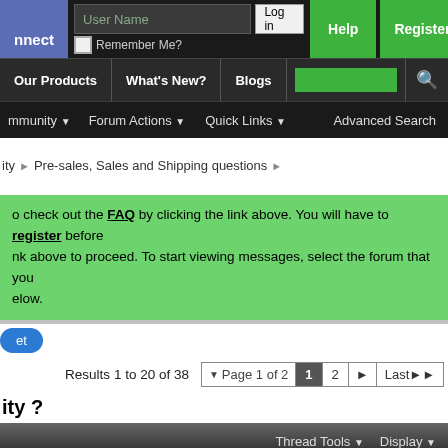Connect | User Name | Log in | Remember Me? | Help | Register
Our Products | What's New? | Blogs
Community | Forum Actions | Quick Links | Advanced Search
ity > Pre-sales, Sales and Shipping questions
o check out the FAQ by clicking the link above. You will have to register before nk above to proceed. To start viewing messages, select the forum that you elow.
et
Results 1 to 20 of 38  Page 1 of 2  1  2  Last
ity ?
Thread Tools  Display
#1
| Join Date: | Jan 2013 | Posts: | 97 |
| --- | --- | --- | --- |
| Join Date: | Jan 2013 |
| Posts: | 97 |